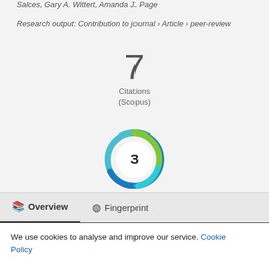Salces, Gary A. Wittert, Amanda J. Page
Research output: Contribution to journal › Article › peer-review
7
Citations
(Scopus)
[Figure (other): Altmetric donut badge showing score of 3, with teal and green swirl design]
Overview
Fingerprint
We use cookies to analyse and improve our service. Cookie Policy